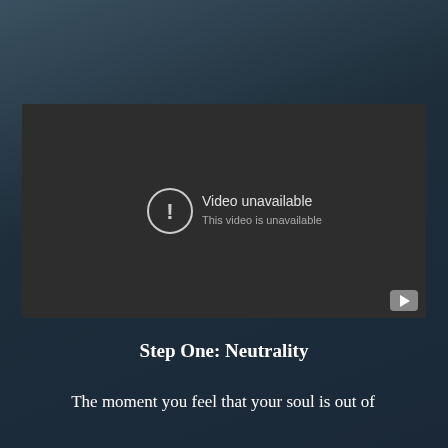[Figure (screenshot): Embedded video player showing 'Video unavailable – This video is unavailable' error message with a YouTube play button in the bottom right corner.]
Step One: Neutrality
The moment you feel that your soul is out of